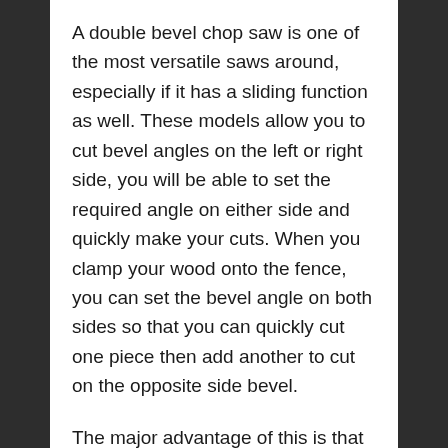A double bevel chop saw is one of the most versatile saws around, especially if it has a sliding function as well. These models allow you to cut bevel angles on the left or right side, you will be able to set the required angle on either side and quickly make your cuts. When you clamp your wood onto the fence, you can set the bevel angle on both sides so that you can quickly cut one piece then add another to cut on the opposite side bevel.
The major advantage of this is that you can work quickly, for carpenters that need to cut a lot of pieces quickly and accurately with different angles it is great. For the tradesmen out there, these are really the most comprehensive mitre saws.